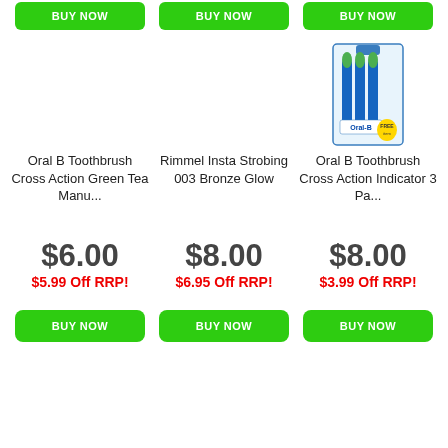[Figure (other): BUY NOW button top row - product 1 (Oral B Toothbrush Cross Action Green Tea)]
[Figure (other): BUY NOW button top row - product 2 (Rimmel Insta Strobing 003 Bronze Glow)]
[Figure (other): BUY NOW button top row - product 3 (Oral B Toothbrush Cross Action Indicator 3 Pa...)]
[Figure (photo): Product image area for Oral B Toothbrush Cross Action Green Tea - no image shown]
[Figure (photo): Product image area for Rimmel Insta Strobing 003 Bronze Glow - no image shown]
[Figure (photo): Photo of Oral B Toothbrush Cross Action Indicator 3 Pack product packaging - blue and green toothbrushes in blister pack]
Oral B Toothbrush Cross Action Green Tea Manu...
Rimmel Insta Strobing 003 Bronze Glow
Oral B Toothbrush Cross Action Indicator 3 Pa...
$6.00
$5.99 Off RRP!
$8.00
$6.95 Off RRP!
$8.00
$3.99 Off RRP!
[Figure (other): BUY NOW button - Oral B Green Tea]
[Figure (other): BUY NOW button - Rimmel Insta Strobing]
[Figure (other): BUY NOW button - Oral B Indicator 3 Pack]